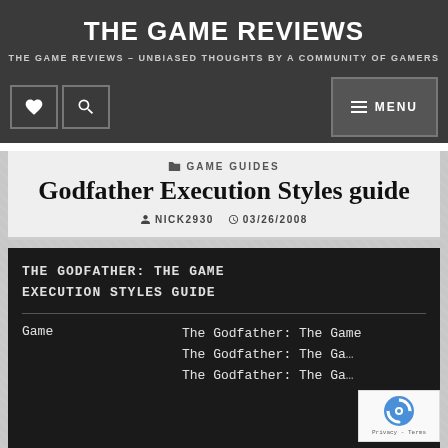THE GAME REVIEWS
THE GAME REVIEWS – UNBIASED THOUGHTS BY A COMMUNITY OF GAMERS
Godfather Execution Styles guide
GAME GUIDES
NICK2930   03/26/2008
THE GODFATHER: THE GAME
EXECUTION STYLES GUIDE
|  |  |
| --- | --- |
| Game | The Godfather: The Game
The Godfather: The Ga...
The Godfather: The Ga... |
| Platform(s) | PC, PS2, PS3, Wii (the... |